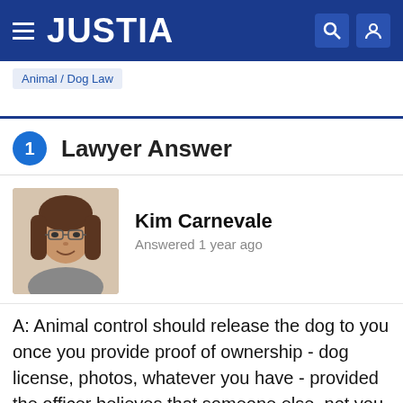JUSTIA
Animal / Dog Law
1 Lawyer Answer
[Figure (photo): Headshot photo of Kim Carnevale, a woman with dark hair and glasses, smiling]
Kim Carnevale
Answered 1 year ago
A: Animal control should release the dog to you once you provide proof of ownership - dog license, photos, whatever you have - provided the officer believes that someone else, not you, left you dog tied for hours and